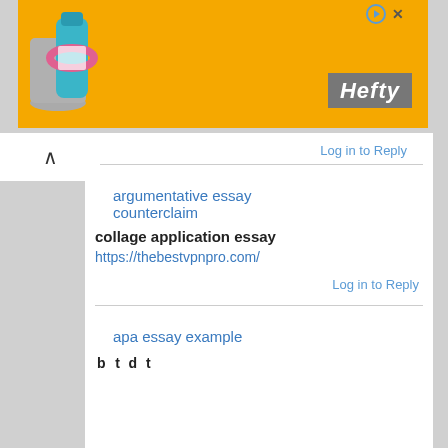[Figure (photo): Orange Hefty advertisement banner with product image and Hefty logo]
Log in to Reply
argumentative essay counterclaim
collage application essay
https://thebestvpnpro.com/
Log in to Reply
apa essay example